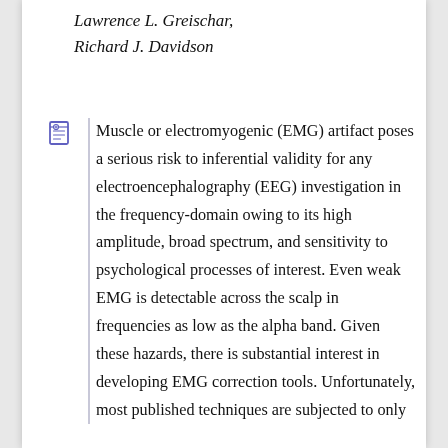Lawrence L. Greischar,
Richard J. Davidson
Muscle or electromyogenic (EMG) artifact poses a serious risk to inferential validity for any electroencephalography (EEG) investigation in the frequency-domain owing to its high amplitude, broad spectrum, and sensitivity to psychological processes of interest. Even weak EMG is detectable across the scalp in frequencies as low as the alpha band. Given these hazards, there is substantial interest in developing EMG correction tools. Unfortunately, most published techniques are subjected to only